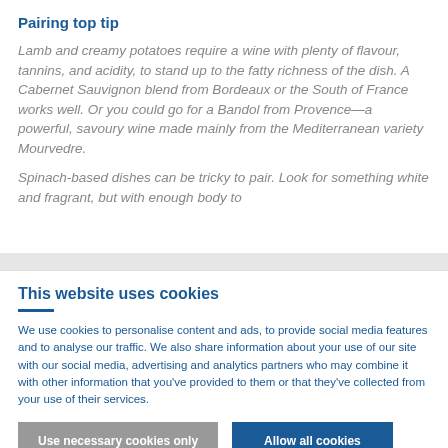Pairing top tip
Lamb and creamy potatoes require a wine with plenty of flavour, tannins, and acidity, to stand up to the fatty richness of the dish. A Cabernet Sauvignon blend from Bordeaux or the South of France works well. Or you could go for a Bandol from Provence—a powerful, savoury wine made mainly from the Mediterranean variety Mourvedre.
Spinach-based dishes can be tricky to pair. Look for something white and fragrant, but with enough body to
This website uses cookies
We use cookies to personalise content and ads, to provide social media features and to analyse our traffic. We also share information about your use of our site with our social media, advertising and analytics partners who may combine it with other information that you've provided to them or that they've collected from your use of their services.
Use necessary cookies only
Allow all cookies
Show details